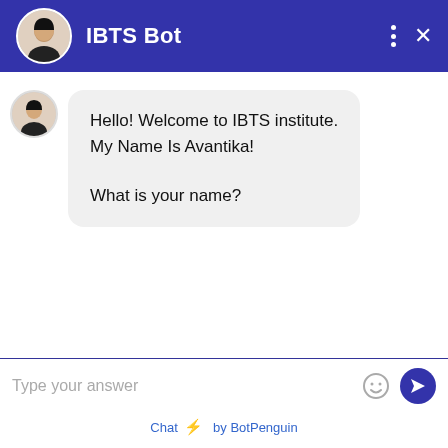IBTS Bot
Hello! Welcome to IBTS institute. My Name Is Avantika!

What is your name?
Type your answer
Chat ⚡ by BotPenguin